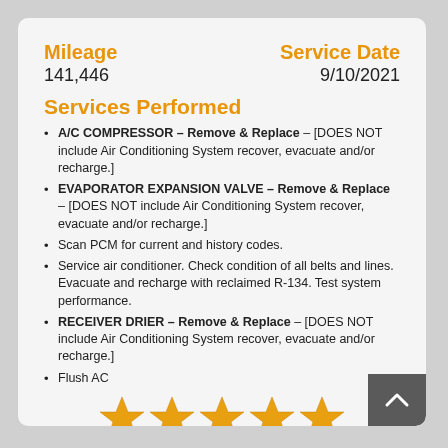Mileage
141,446
Service Date
9/10/2021
Services Performed
A/C COMPRESSOR – Remove & Replace – [DOES NOT include Air Conditioning System recover, evacuate and/or recharge.]
EVAPORATOR EXPANSION VALVE – Remove & Replace – [DOES NOT include Air Conditioning System recover, evacuate and/or recharge.]
Scan PCM for current and history codes.
Service air conditioner. Check condition of all belts and lines. Evacuate and recharge with reclaimed R-134. Test system performance.
RECEIVER DRIER – Remove & Replace – [DOES NOT include Air Conditioning System recover, evacuate and/or recharge.]
Flush AC
[Figure (other): Five gold star rating icons]
Jessica R. gave our service a 5 star review on 9/10/2021